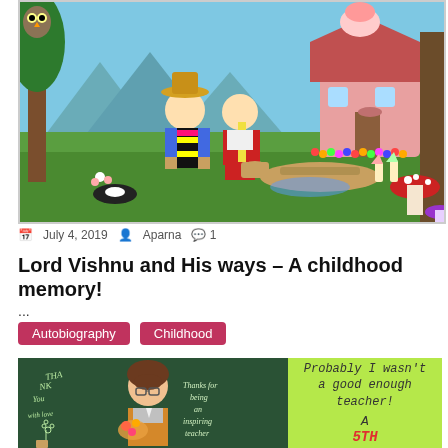[Figure (illustration): Colorful fairy tale illustration showing two children (a boy in striped shirt and hat, a girl in red dress with basket) in an enchanted forest with a candy house in the background, owl in tree, mushrooms, and various forest creatures.]
July 4, 2019  Aparna  1
Lord Vishnu and His ways – A childhood memory!
...
Autobiography
Childhood
[Figure (illustration): Left side: Dark green chalkboard background with a cartoon female teacher holding flowers, text reading 'Thank You', 'with love', and 'Thanks for being an inspiring teacher'. Right side: Light green background with text 'Probably I wasn't a good enough teacher! A 5TH']